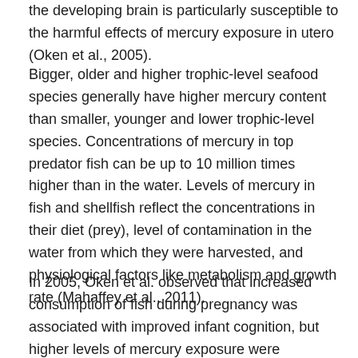the developing brain is particularly susceptible to the harmful effects of mercury exposure in utero (Oken et al., 2005).
Bigger, older and higher trophic-level seafood species generally have higher mercury content than smaller, younger and lower trophic-level species. Concentrations of mercury in top predator fish can be up to 10 million times higher than in the water. Levels of mercury in fish and shellfish reflect the concentrations in their diet (prey), level of contamination in the water from which they were harvested, and physiological factors like metabolism and growth rate (Mahaffey et al., 2011).
In 2005, Oken et al. observed that increased consumption of fish during pregnancy was associated with improved infant cognition, but higher levels of mercury exposure were associated with lower infant cognition. In 2008, Davidson et al.